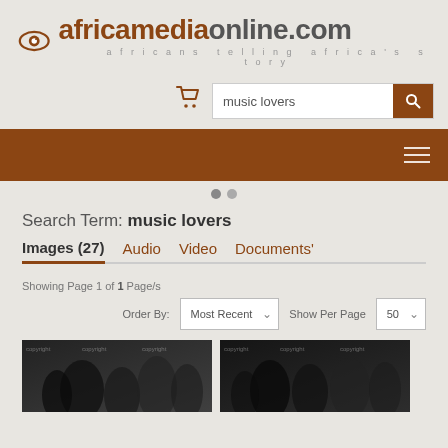[Figure (logo): africamediaonline.com logo with eye icon and tagline 'africans telling africa's story']
[Figure (screenshot): Search bar with 'music lovers' query and orange search button, and shopping cart icon]
[Figure (screenshot): Orange navigation bar with hamburger menu icon]
Search Term: music lovers
Images (27)   Audio   Video   Documents'
Showing Page 1 of 1 Page/s
Order By: Most Recent   Show Per Page: 50
[Figure (photo): Two photo thumbnails showing black and white images of people, music lovers search results]